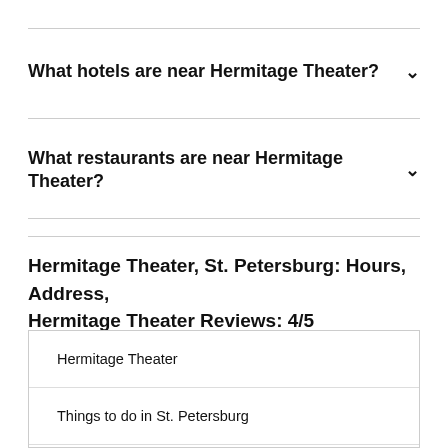What hotels are near Hermitage Theater?
What restaurants are near Hermitage Theater?
Hermitage Theater, St. Petersburg: Hours, Address, Hermitage Theater Reviews: 4/5
Hermitage Theater
Things to do in St. Petersburg
St. Petersburg
Northwestern District
Russia